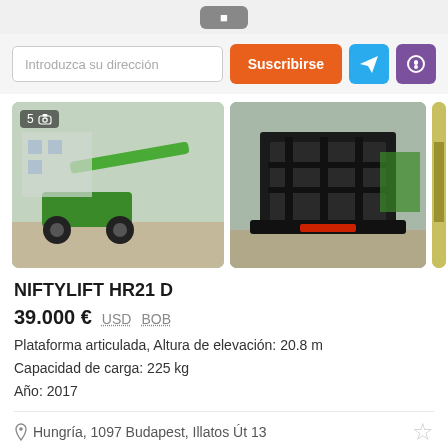[Figure (screenshot): Top navigation bar with a gray button partially visible]
Introduzca su dirección
Suscribirse
[Figure (photo): Two photos of a NIFTYLIFT HR21 D articulated platform lift. Left photo shows the green boom lift from the side. Right photo shows the rear/black frame structure. A third partially visible yellow machine on the far right.]
NIFTYLIFT HR21 D
39.000 € USD BOB
Plataforma articulada, Altura de elevación: 20.8 m
Capacidad de carga: 225 kg
Año: 2017
Hungría, 1097 Budapest, Illatos Út 13